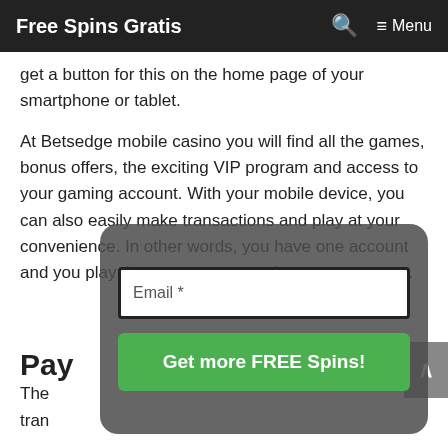Free Spins Gratis  🔍  ≡ Menu
get a button for this on the home page of your smartphone or tablet.
At Betsedge mobile casino you will find all the games, bonus offers, the exciting VIP program and access to your gaming account. With your mobile device, you can also easily make transactions and play at your convenience. In other words, you have one account and you play the way you want, whenever you want.
[Figure (screenshot): Modal popup overlay with email input field labeled 'Email *' and a green button labeled 'Get more FREE Spins!']
Pay
The tran